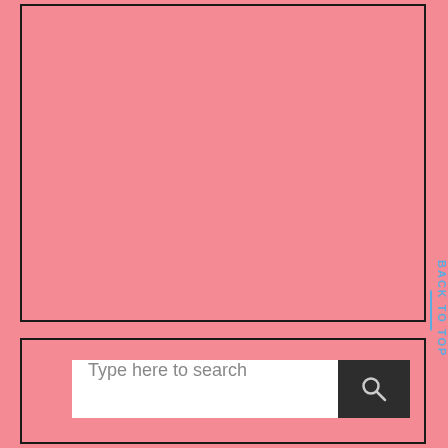[Figure (other): Large pink bordered rectangle (top section), empty content area]
[Figure (screenshot): Pink bordered rectangle (bottom section) containing a search bar with placeholder text 'Type here to search' and a dark search button with magnifying glass icon]
Type here to search
BACK TO TOP